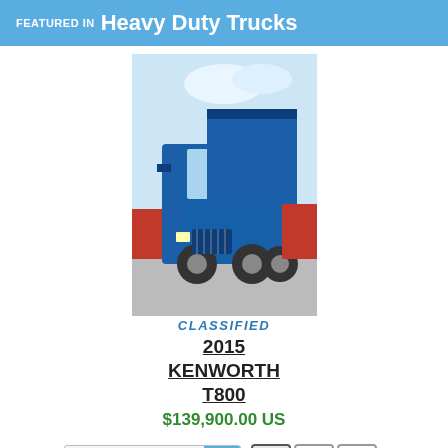FEATURED IN Heavy Duty Trucks
[Figure (photo): Blue Kenworth T800 dump truck, front three-quarter view in a parking area]
CLASSIFIED
2015 KENWORTH T800
$139,900.00 US
Sort By:
All   Classifieds   Auctions
NEWEST CLASSIFIEDS IN Heavy Duty Trucks
| Photo | Title
Description | Price |
| --- | --- | --- |